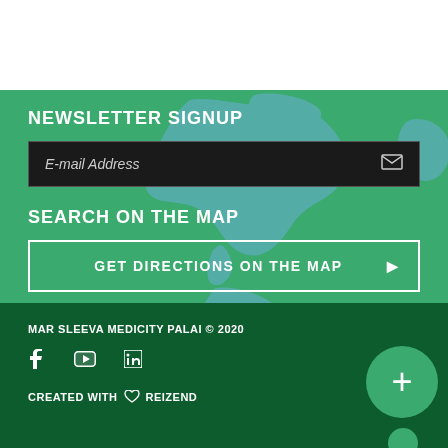NEWSLETTER SIGNUP
E-mail Address
SEARCH ON THE MAP
GET DIRECTIONS ON THE MAP
MAR SLEEVA MEDICITY PALAI © 2020
CREATED WITH ♡ REIZEND